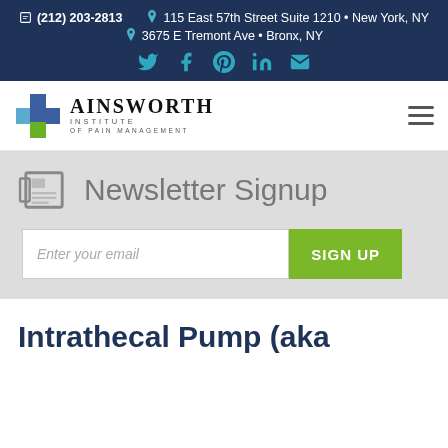(212) 203-2813  •  115 East 57th Street Suite 1210 • New York, NY  •  3675 E Tremont Ave • Bronx, NY
[Figure (logo): Ainsworth Institute of Pain Management logo with colored cross]
Newsletter Signup
Enter your email  SIGN UP
Intrathecal Pump (aka